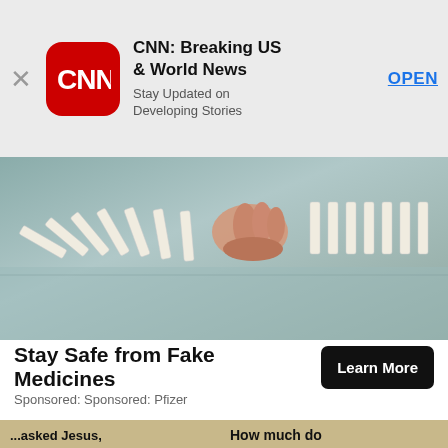[Figure (screenshot): App store advertisement banner for CNN: Breaking US & World News app with close button (X), CNN red logo, app title, subtitle 'Stay Updated on Developing Stories', and blue OPEN button]
[Figure (photo): Close-up photo of a hand stopping or pushing dominos falling in a chain reaction on a reflective surface]
Stay Safe from Fake Medicines
Sponsored: Sponsored: Pfizer
[Figure (photo): Photo of an Amish-looking man and woman smiling, with text on wall behind reading '...asked Jesus, How much do love me? He stretched His arms ... died.']